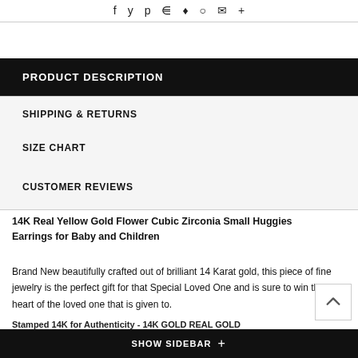f  y  p  ⊞  ♦  ○  ✉  +
PRODUCT DESCRIPTION
SHIPPING & RETURNS
SIZE CHART
CUSTOMER REVIEWS
14K Real Yellow Gold Flower Cubic Zirconia Small Huggies Earrings for Baby and Children
Brand New beautifully crafted out of brilliant 14 Karat gold, this piece of fine jewelry is the perfect gift for that Special Loved One and is sure to win the heart of the loved one that is given to.
SHOW SIDEBAR  +
Stamped 14K for Authenticity - 14K GOLD REAL GOLD